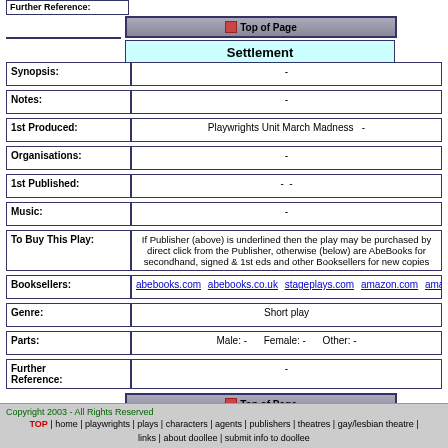Further Reference:
Top of Page
Settlement
| Field | Value |
| --- | --- |
| Synopsis: | - |
| Notes: | - |
| 1st Produced: | Playwrights Unit March Madness   - |
| Organisations: | - |
| 1st Published: | - - |
| Music: | - |
| To Buy This Play: | If Publisher (above) is underlined then the play may be purchased by direct click from the Publisher, otherwise (below) are AbeBooks for secondhand, signed & 1st eds and other Booksellers for new copies |
| Booksellers: | abebooks.com  abebooks.co.uk  stageplays.com  amazon.com  amazon.co.uk  am |
| Genre: | Short play |
| Parts: | Male: -      Female: -      Other: - |
| Further Reference: | - |
Top of Page
Copyright 2003 - All Rights Reserved  TOP | home | playwrights | plays | characters | agents | publishers | theatres | gay/lesbian theatre | links | about doollee | submit info to doollee